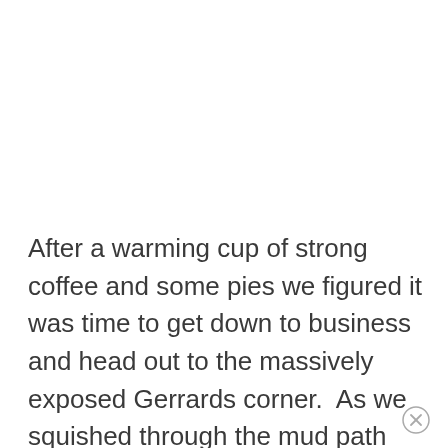After a warming cup of strong coffee and some pies we figured it was time to get down to business and head out to the massively exposed Gerrards corner.  As we squished through the mud path that leads out onto the corner you couldn't help but notice quite a bit of the lake was still iced over.